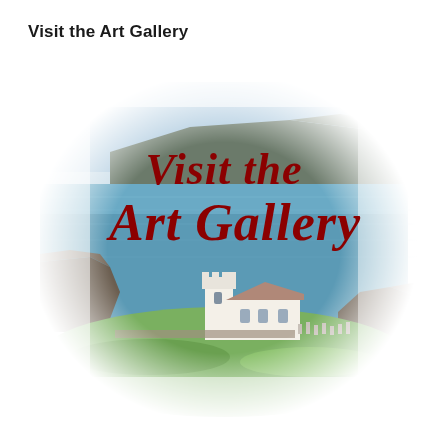Visit the Art Gallery
[Figure (illustration): Coastal scene with a white church and cemetery on rocky cliffs beside a blue sea, with a large flat-topped headland in the background. Overlaid in dark red italic script text reading 'Visit the Art Gallery'. The image has a soft watercolor-style fade at the edges.]